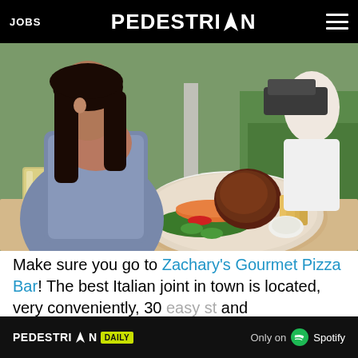JOBS | PEDESTRIAN | (hamburger menu)
[Figure (photo): A woman with long dark hair sits at an outdoor restaurant table looking at a large plate of food including ribs, chips, salad with carrot, cucumber and greens, and a dipping sauce. A beer glass is visible to the left. Outdoor greenery and parked car visible in background.]
Make sure you go to Zachary's Gourmet Pizza Bar! The best Italian joint in town is located, very conveniently, 30 easy steps [away from... and knocking... tric or]
PEDESTRIAN DAILY | Only on Spotify